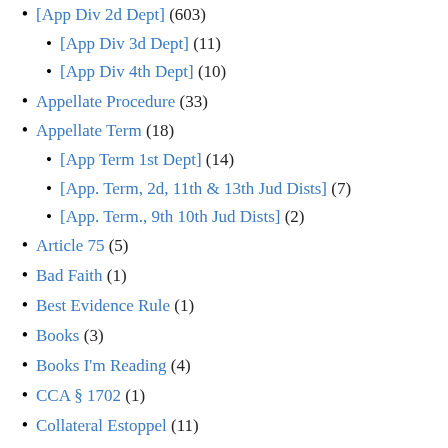[App Div 2d Dept] (603)
[App Div 3d Dept] (11)
[App Div 4th Dept] (10)
Appellate Procedure (33)
Appellate Term (18)
[App Term 1st Dept] (14)
[App. Term, 2d, 11th & 13th Jud Dists] (7)
[App. Term., 9th 10th Jud Dists] (2)
Article 75 (5)
Bad Faith (1)
Best Evidence Rule (1)
Books (3)
Books I'm Reading (4)
CCA § 1702 (1)
Collateral Estoppel (11)
Conflict of laws (3)
Contracts (3)